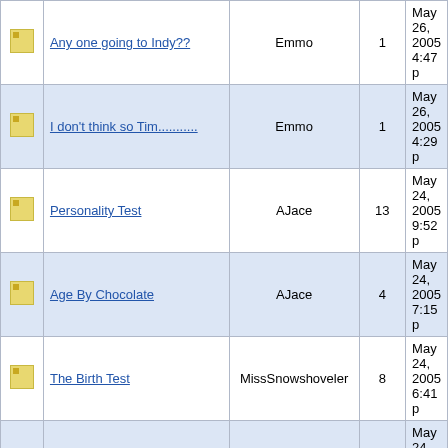|  | Topic | Author | Replies | Date |
| --- | --- | --- | --- | --- |
| [icon] | Any one going to Indy?? | Emmo | 1 | May 26, 2005 4:47 p |
| [icon] | I don't think so Tim........... | Emmo | 1 | May 26, 2005 4:29 p |
| [icon] | Personality Test | AJace | 13 | May 24, 2005 9:52 p |
| [icon] | Age By Chocolate | AJace | 4 | May 24, 2005 7:15 p |
| [icon] | The Birth Test | MissSnowshoveler | 8 | May 24, 2005 6:41 p |
| [icon] | Cars vs. Computers | AJace | 1 | May 24, 2005 5:54 p |
| [icon] | My recovery from heart surgery | pecanmanwill | 24 | May 24, 2005 3:41 p |
Pages: 1 2 3 4 5 6 7 8 9 10 ... 13
Posts in this section will not count towards your rank poi
Community Guide • Discussions
AbbysGuide.com  About Us  Terms of Use  Privacy Policy  Contact Us
Copyright 1998-2022 AbbysGuide.com. All rights reserved.
Site by Take 42